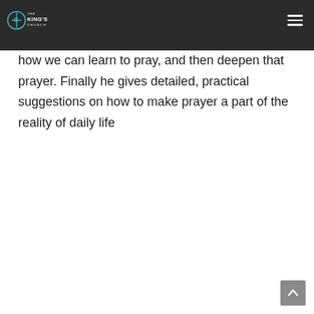The King's Church navigation header
tually is – both conversation and encounter with a personal God – before describing how we can learn to pray, and then deepen that prayer. Finally he gives detailed, practical suggestions on how to make prayer a part of the reality of daily life